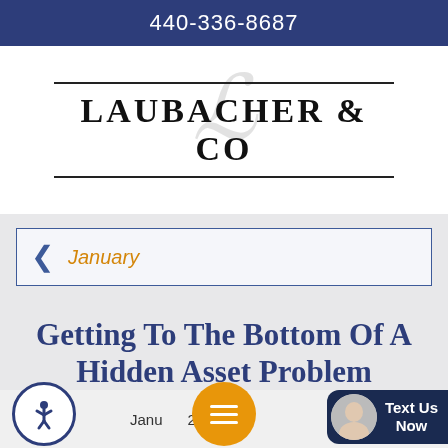440-336-8687
[Figure (logo): Laubacher & Co logo with cursive L watermark and double horizontal rules]
January
Getting To The Bottom Of A Hidden Asset Problem
January 2019